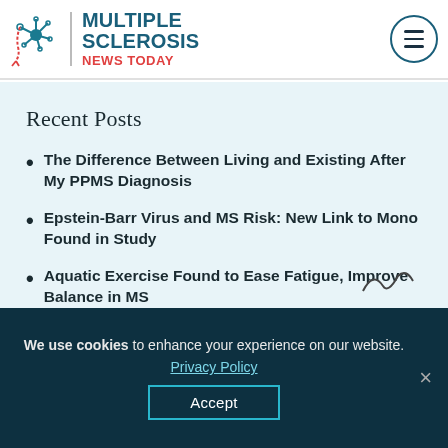[Figure (logo): Multiple Sclerosis News Today logo with stylized neuron icon, vertical divider, and site name in teal and red text. Hamburger menu icon in top right.]
Recent Posts
The Difference Between Living and Existing After My PPMS Diagnosis
Epstein-Barr Virus and MS Risk: New Link to Mono Found in Study
Aquatic Exercise Found to Ease Fatigue, Improve Balance in MS
We use cookies to enhance your experience on our website. Privacy Policy Accept